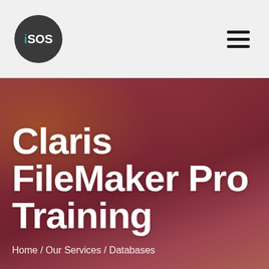iSOS
[Figure (photo): Blurred dark rose/mauve fabric background with golden emblem visible at upper left, serving as hero banner background for the Claris FileMaker Pro Training page]
Claris FileMaker Pro Training
Home / Our Services / Databases